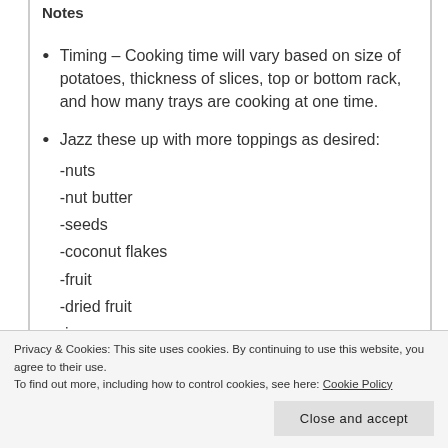Notes
Timing – Cooking time will vary based on size of potatoes, thickness of slices, top or bottom rack, and how many trays are cooking at one time.
Jazz these up with more toppings as desired:
-nuts
-nut butter
-seeds
-coconut flakes
-fruit
-dried fruit
-jam
Privacy & Cookies: This site uses cookies. By continuing to use this website, you agree to their use.
To find out more, including how to control cookies, see here: Cookie Policy